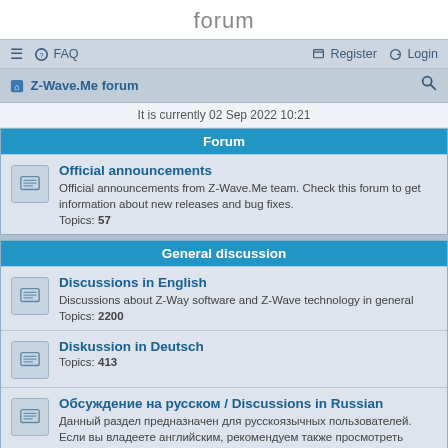forum
☰  FAQ   Register  Login
Z-Wave.Me forum  🔍
It is currently 02 Sep 2022 10:21
Forum
Official announcements
Official announcements from Z-Wave.Me team. Check this forum to get information about new releases and bug fixes.
Topics: 57
General discussion
Discussions in English
Discussions about Z-Way software and Z-Wave technology in general
Topics: 2200
Diskussion in Deutsch
Topics: 413
Обсуждение на русском / Discussions in Russian
Данный раздел предназначен для русскоязычных пользователей. Если вы владеете английским, рекомендуем также просмотреть общую ветку обсуждений на английском.
Topics: 425
Discussioni in italiano...